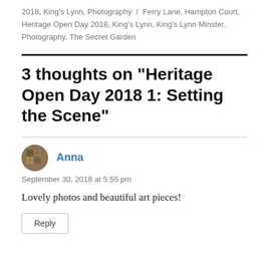2018, King's Lynn, Photography / Ferry Lane, Hampton Court, Heritage Open Day 2018, King's Lynn, King's Lynn Minster, Photography, The Secret Garden
3 thoughts on “Heritage Open Day 2018 1: Setting the Scene”
Anna
September 30, 2018 at 5:55 pm
Lovely photos and beautiful art pieces!
Reply